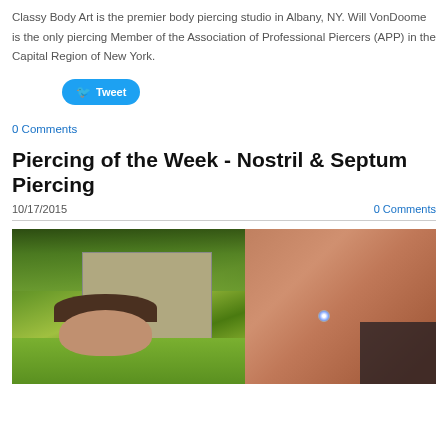Classy Body Art is the premier body piercing studio in Albany, NY. Will VonDoome is the only piercing Member of the Association of Professional Piercers (APP) in the Capital Region of New York.
[Figure (other): Twitter Tweet button]
0 Comments
Piercing of the Week - Nostril & Septum Piercing
10/17/2015
0 Comments
[Figure (photo): Two side-by-side photos: left shows a person outdoors with trees and a building in the background, right shows a close-up of a nostril piercing with a jeweled stud]